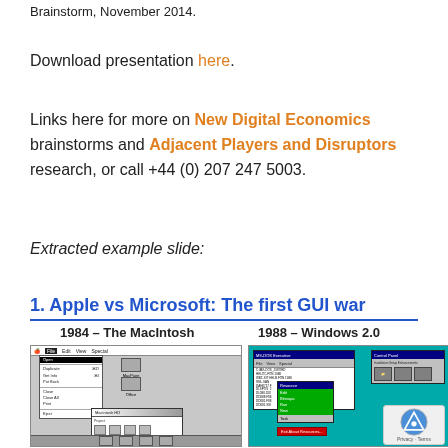Brainstorm, November 2014.
Download presentation here.
Links here for more on New Digital Economics brainstorms and Adjacent Players and Disruptors research, or call +44 (0) 207 247 5003.
Extracted example slide:
1. Apple vs Microsoft: The first GUI war
1984 – The MacIntosh
1988 – Windows 2.0
[Figure (screenshot): Screenshot of early Macintosh GUI with menu open showing options: Open, Duplicate, Get Info, Put Back, Close, Close All, Print, Eject]
[Figure (screenshot): Screenshot of Windows 2.0 GUI with teal background, showing overlapping windows with menus and a green popup panel]